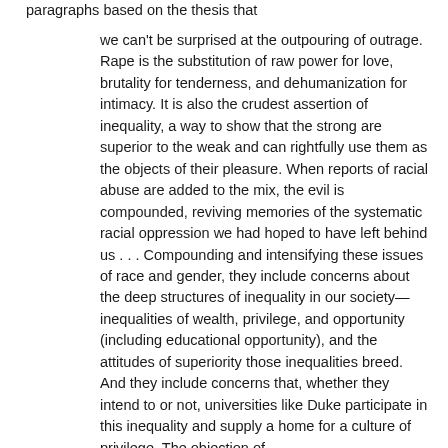paragraphs based on the thesis that
we can't be surprised at the outpouring of outrage. Rape is the substitution of raw power for love, brutality for tenderness, and dehumanization for intimacy. It is also the crudest assertion of inequality, a way to show that the strong are superior to the weak and can rightfully use them as the objects of their pleasure. When reports of racial abuse are added to the mix, the evil is compounded, reviving memories of the systematic racial oppression we had hoped to have left behind us . . . Compounding and intensifying these issues of race and gender, they include concerns about the deep structures of inequality in our society—inequalities of wealth, privilege, and opportunity (including educational opportunity), and the attitudes of superiority those inequalities breed. And they include concerns that, whether they intend to or not, universities like Duke participate in this inequality and supply a home for a culture of privilege. The objection of